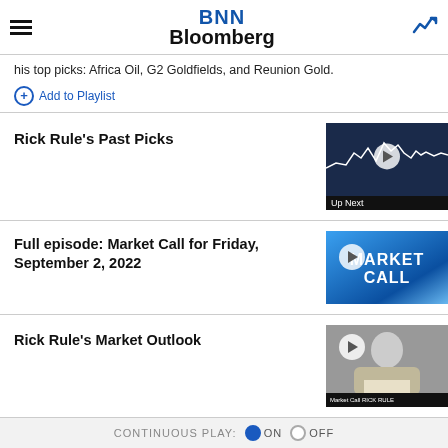BNN Bloomberg
his top picks: Africa Oil, G2 Goldfields, and Reunion Gold.
Add to Playlist
Rick Rule's Past Picks
[Figure (screenshot): Stock chart thumbnail with Up Next label]
Full episode: Market Call for Friday, September 2, 2022
[Figure (screenshot): Market Call blue banner thumbnail]
Rick Rule's Market Outlook
[Figure (screenshot): Rick Rule person photo thumbnail with Market Call lower bar]
CONTINUOUS PLAY: ON OFF